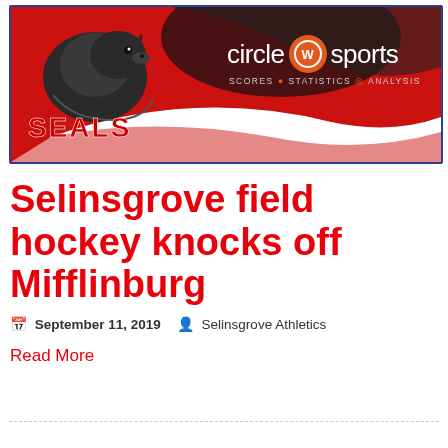[Figure (illustration): Seals team banner with red background, seal animal silhouette, SEALS logo on left, and Circle W Sports logo (scores, statistics, analysis) on right]
Selinsgrove field hockey knocks off Mifflinburg
September 11, 2019   Selinsgrove Athletics
Read More